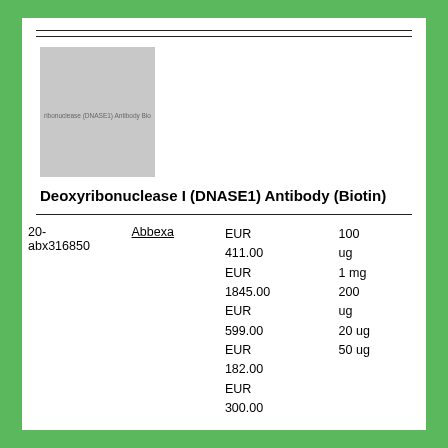[Figure (photo): Placeholder thumbnail image for Deoxyribonuclease I (DNASE1) Antibody (Biotin) product]
Deoxyribonuclease I (DNASE1) Antibody (Biotin)
|  | Supplier | Price | Quantity |
| --- | --- | --- | --- |
| 20-abx316850 | Abbexa | EUR 411.00
EUR 1845.00
EUR 599.00
EUR 182.00
EUR 300.00 | 100 ug
1 mg
200 ug
20 ug
50 ug |